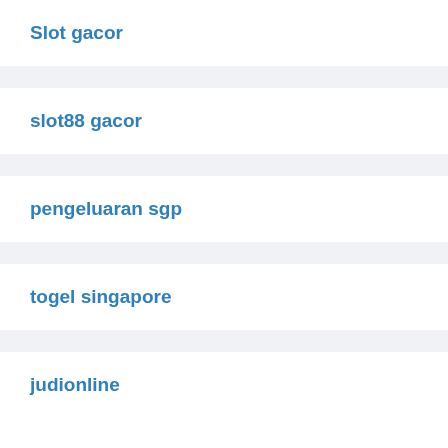Slot gacor
slot88 gacor
pengeluaran sgp
togel singapore
judionline